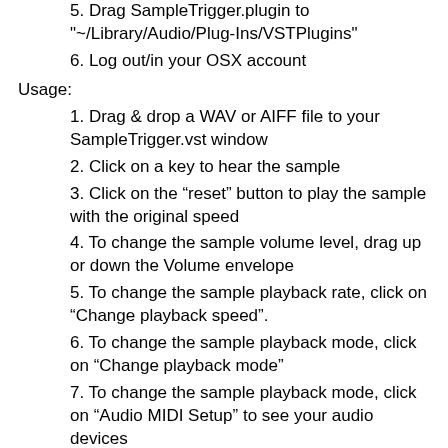5. Drag SampleTrigger.plugin to "~/Library/Audio/Plug-Ins/VSTPlugins"
6. Log out/in your OSX account
Usage:
1. Drag & drop a WAV or AIFF file to your SampleTrigger.vst window
2. Click on a key to hear the sample
3. Click on the “reset” button to play the sample with the original speed
4. To change the sample volume level, drag up or down the Volume envelope
5. To change the sample playback rate, click on “Change playback speed”.
6. To change the sample playback mode, click on “Change playback mode”
7. To change the sample playback mode, click on “Audio MIDI Setup” to see your audio devices
Note: SampleTrigger.plugin loads the “SampleTrigger.app” application to handle MIDI and audio devices